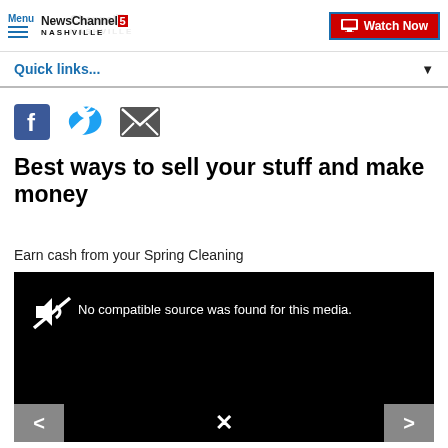Menu | NewsChannel 5 Nashville | Watch Now
Quick links...
[Figure (other): Social share icons: Facebook, Twitter, Email]
Best ways to sell your stuff and make money
Earn cash from your Spring Cleaning
[Figure (other): Video player showing: No compatible source was found for this media. Navigation arrows left and right, close X button at bottom center.]